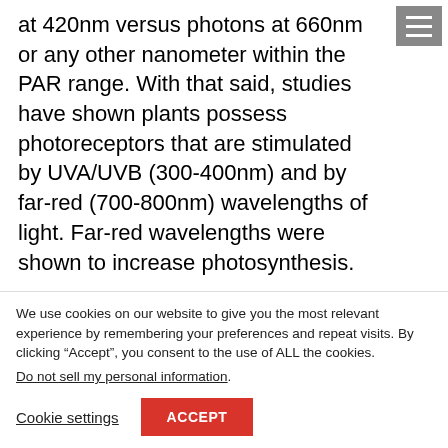at 420nm versus photons at 660nm or any other nanometer within the PAR range. With that said, studies have shown plants possess photoreceptors that are stimulated by UVA/UVB (300-400nm) and by far-red (700-800nm) wavelengths of light. Far-red wavelengths were shown to increase photosynthesis.
Many growers are seeing the benefits of spectral quality versus higher PAR with lighting products
We use cookies on our website to give you the most relevant experience by remembering your preferences and repeat visits. By clicking “Accept”, you consent to the use of ALL the cookies.
Do not sell my personal information.
Cookie settings   ACCEPT